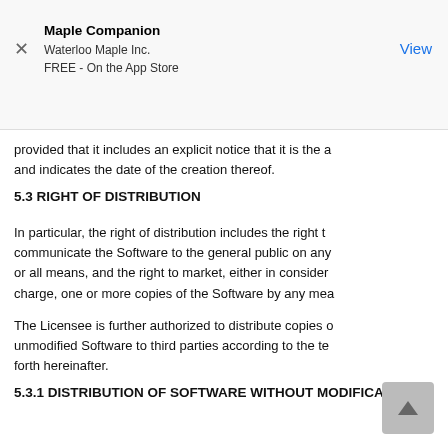Maple Companion
Waterloo Maple Inc.
FREE - On the App Store
View
provided that it includes an explicit notice that it is the and indicates the date of the creation thereof.
5.3 RIGHT OF DISTRIBUTION
In particular, the right of distribution includes the right t communicate the Software to the general public on any or all means, and the right to market, either in consider charge, one or more copies of the Software by any mea
The Licensee is further authorized to distribute copies o unmodified Software to third parties according to the te forth hereinafter.
5.3.1 DISTRIBUTION OF SOFTWARE WITHOUT MODIFICA